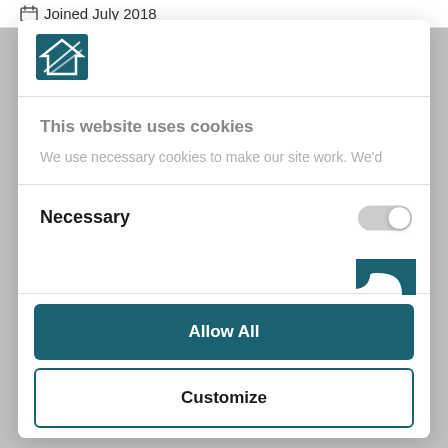Joined July 2018
[Figure (logo): Website logo - teal and white building/home icon with diagonal lines]
This website uses cookies
We use necessary cookies to make our site work. We'd
Necessary
Allow All
Customize
Powered by Cookiebot by Usercentrics